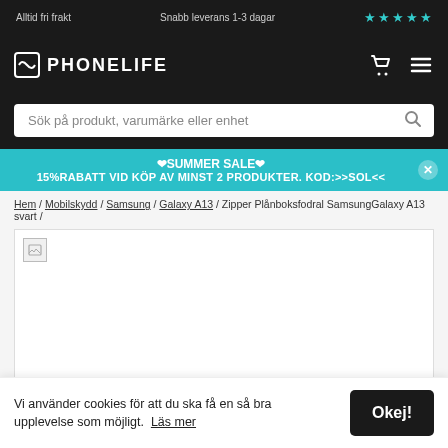Alltid fri frakt   Snabb leverans 1-3 dagar   ★★★★★
[Figure (logo): Phonelife logo with icon and text on dark background header with cart and menu icons]
Sök på produkt, varumärke eller enhet
❤SUMMER SALE❤ 15% RABATT VID KÖP AV MINST 2 PRODUKTER. KOD:>>SOL<<
Hem / Mobilskydd / Samsung / Galaxy A13 / Zipper Plånboksfodral SamsungGalaxy A13 svart /
[Figure (photo): Product image area showing a broken/missing image placeholder]
Vi använder cookies för att du ska få en så bra upplevelse som möjligt.  Läs mer